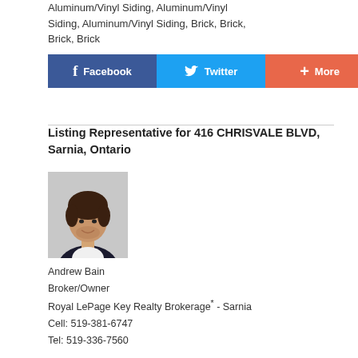Aluminum/Vinyl Siding, Aluminum/Vinyl Siding, Aluminum/Vinyl Siding, Brick, Brick, Brick, Brick
[Figure (other): Social share buttons: Facebook (blue), Twitter (light blue), More (orange-red)]
Listing Representative for 416 CHRISVALE BLVD, Sarnia, Ontario
[Figure (photo): Headshot photo of Andrew Bain, a man with dark wavy hair wearing a dark blazer and white shirt, smiling.]
Andrew Bain
Broker/Owner
Royal LePage Key Realty Brokerage* - Sarnia
Cell: 519-381-6747
Tel: 519-336-7560